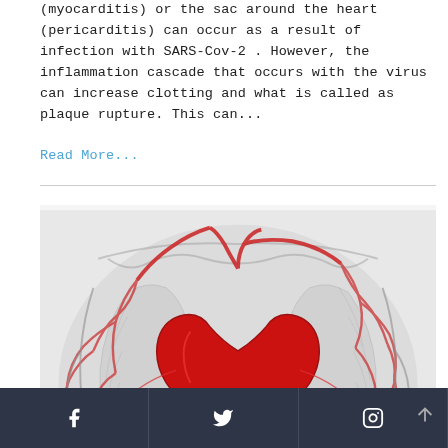(myocarditis) or the sac around the heart (pericarditis) can occur as a result of infection with SARS-Cov-2 . However, the inflammation cascade that occurs with the virus can increase clotting and what is called as plaque rupture. This can...
Read More...
[Figure (illustration): Medical illustration showing a human heart highlighted in red with visible blood vessels, set against a translucent gray rendering of the human thorax/chest anatomy.]
Facebook | Twitter | Instagram